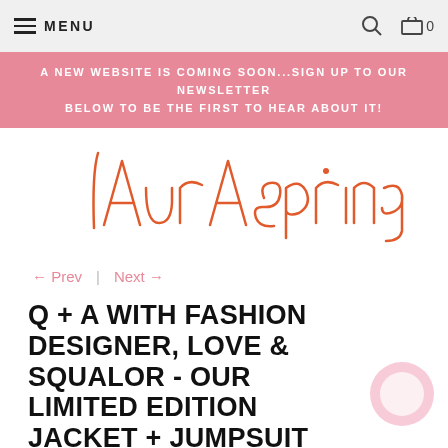MENU | search | cart 0
A NEW WEBSITE IS COMING SOON...SIGN UP TO OUR NEWSLETTER BELOW TO BE THE FIRST TO HEAR ABOUT IT!
[Figure (logo): Laura Spring handwritten logo in orange/coral script]
← Prev  |  Next →
Q + A WITH FASHION DESIGNER, LOVE & SQUALOR - OUR LIMITED EDITION JACKET + JUMPSUIT COLLABORATOR